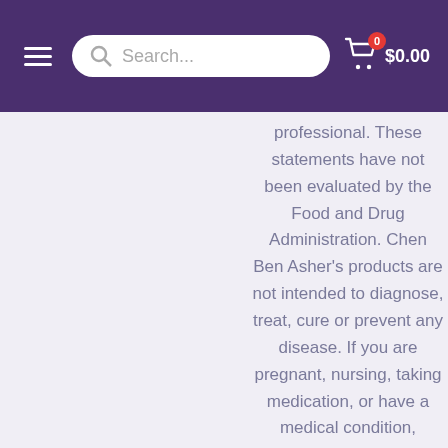Search... $0.00
professional. These statements have not been evaluated by the Food and Drug Administration. Chen Ben Asher's products are not intended to diagnose, treat, cure or prevent any disease. If you are pregnant, nursing, taking medication, or have a medical condition, consult your physician